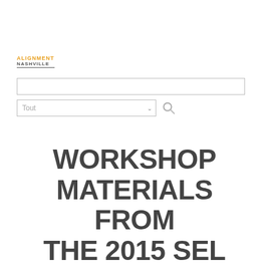[Figure (logo): Alignment Nashville logo with orange 'ALIGNMENT' text and gray 'NASHVILLE' text with underline]
[Figure (screenshot): Search input text box (empty)]
[Figure (screenshot): Dropdown selector labeled 'Tout' with a search/magnifier button]
WORKSHOP MATERIALS FROM THE 2015 SEL CONFERENCE